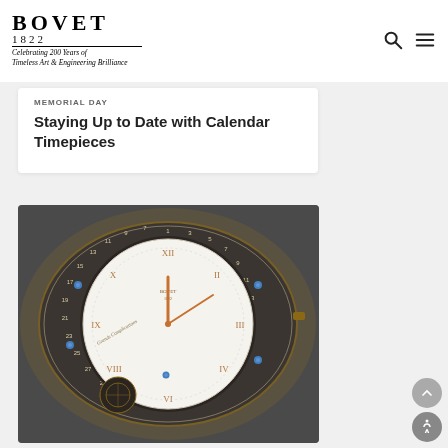[Figure (logo): BOVET 1822 logo with tagline 'Celebrating 200 Years of Timeless Art & Engineering Brilliance']
Memorial Day
Staying Up to Date with Calendar Timepieces
[Figure (photo): Close-up photograph of a BOVET luxury watch showing the white enamel dial with Roman numerals in rose gold, surrounded by an engraved movement with date numerals around the perimeter, blue screws visible, tourbillon at bottom.]